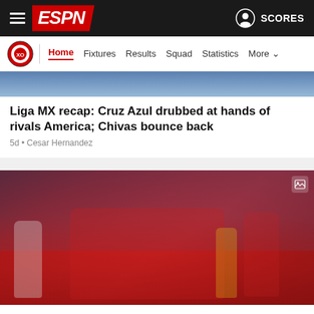ESPN — SCORES
Home | Fixtures | Results | Squad | Statistics | More
[Figure (photo): Partial top image of article — blurred sports photo background]
Liga MX recap: Cruz Azul drubbed at hands of rivals America; Chivas bounce back
5d • Cesar Hernandez
[Figure (photo): Chivas players in red jerseys grouped together on the pitch, stadium crowd visible in background. A referee in yellow is visible to the right. An opposing player in white is to the left.]
Liga MX recap: Chivas hope free tickets keep fans on board, Pumas trounced by America
12d • Cesar Hernandez